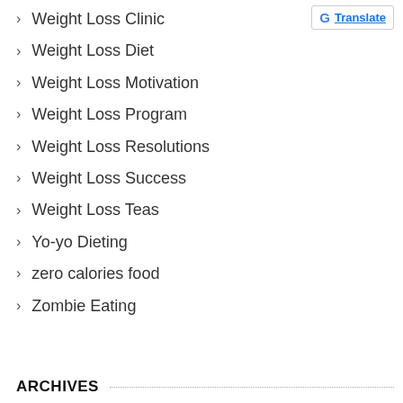Weight Loss Clinic
Weight Loss Diet
Weight Loss Motivation
Weight Loss Program
Weight Loss Resolutions
Weight Loss Success
Weight Loss Teas
Yo-yo Dieting
zero calories food
Zombie Eating
ARCHIVES